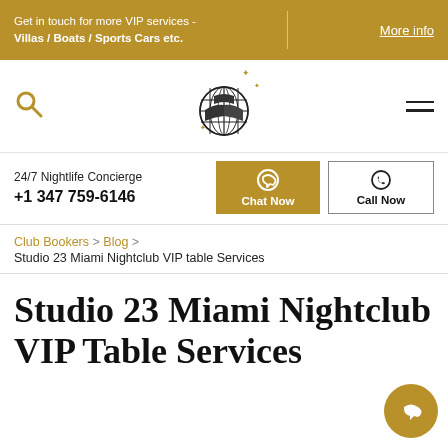Get in touch for more VIP services - Villas / Boats / Sports Cars etc. | More info
[Figure (logo): Disco ball globe logo with sparkle stars, center of navigation bar]
24/7 Nightlife Concierge
+1 347 759-6146
Club Bookers > Blog > Studio 23 Miami Nightclub VIP table Services
Studio 23 Miami Nightclub VIP Table Services